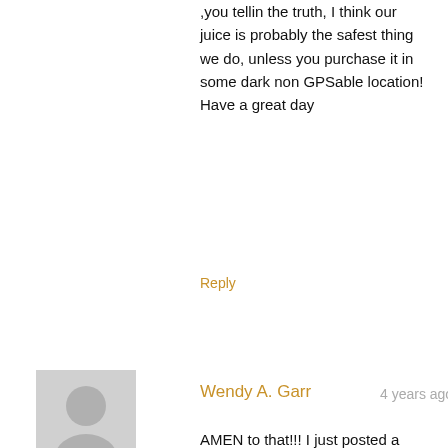,you tellin the truth, I think our juice is probably the safest thing we do, unless you purchase it in some dark non GPSable location! Have a great day
Reply
[Figure (illustration): Generic user avatar icon — grey silhouette of a person on a light grey square background]
Wendy A. Garr  4 years ago
AMEN to that!!! I just posted a quite long, we will call it for lack of better words a educational piece on Facebook. Then I posted the article that we have all just read about popcorn lungs. Hopefully if we all speak up the ignorance will stop! I urge you all to share the article provided to us. Let's get our words and thoughts heard. Thanks again Ash! You have inspired me more! Heres vaping to you... !!! 🙂